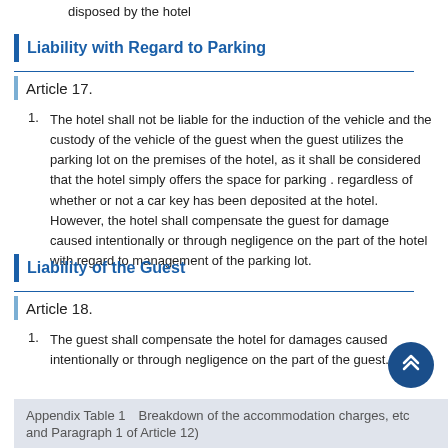disposed by the hotel
Liability with Regard to Parking
Article 17.
The hotel shall not be liable for the induction of the vehicle and the custody of the vehicle of the guest when the guest utilizes the parking lot on the premises of the hotel, as it shall be considered that the hotel simply offers the space for parking . regardless of whether or not a car key has been deposited at the hotel. However, the hotel shall compensate the guest for damage caused intentionally or through negligence on the part of the hotel with regard to management of the parking lot.
Liability of the Guest
Article 18.
The guest shall compensate the hotel for damages caused intentionally or through negligence on the part of the guest.
Appendix Table 1　Breakdown of the accommodation charges, etc and Paragraph 1 of Article 12)